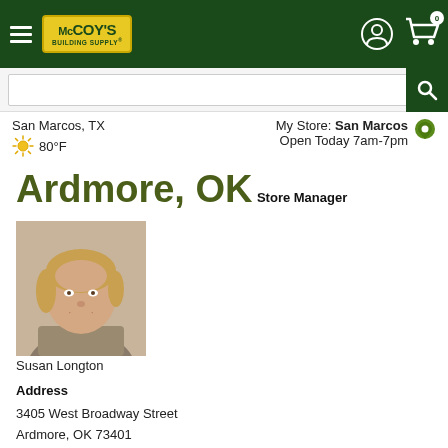McCoy's Building Supply navigation bar with hamburger menu, logo, account icon, and cart (0)
San Marcos, TX  80°F   My Store: San Marcos  Open Today 7am-7pm
Ardmore, OK
Store Manager
[Figure (photo): Headshot photo of Susan Longton, store manager]
Susan Longton
Address
3405 West Broadway Street
Ardmore, OK 73401